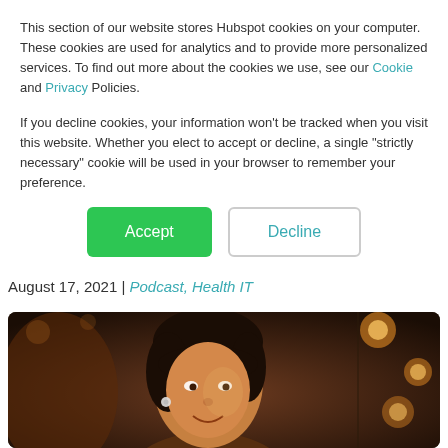This section of our website stores Hubspot cookies on your computer. These cookies are used for analytics and to provide more personalized services. To find out more about the cookies we use, see our Cookie and Privacy Policies.
If you decline cookies, your information won't be tracked when you visit this website. Whether you elect to accept or decline, a single "strictly necessary" cookie will be used in your browser to remember your preference.
Accept | Decline
Posted by Christina Noel, Social Media Manager/HBTI Zon
August 17, 2021 | Podcast, Health IT
[Figure (photo): A smiling woman with short dark hair and earbuds, photographed in a warmly lit interior setting with circular light fixtures in the background.]